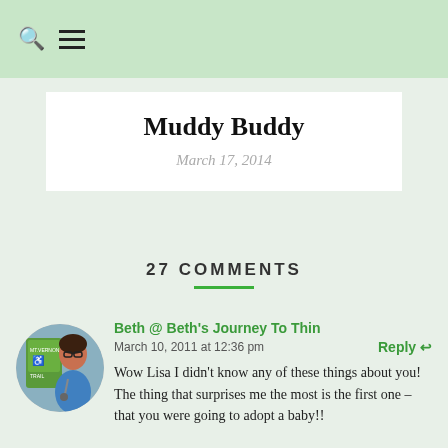Search | Menu
Muddy Buddy
March 17, 2014
27 COMMENTS
Beth @ Beth's Journey To Thin
March 10, 2011 at 12:36 pm
Reply
Wow Lisa I didn't know any of these things about you! The thing that surprises me the most is the first one – that you were going to adopt a baby!!